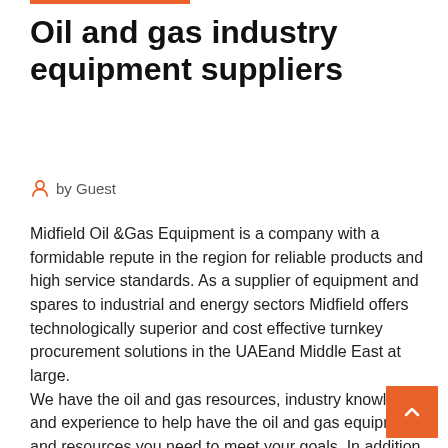Oil and gas industry equipment suppliers
by Guest
Midfield Oil &Gas Equipment is a company with a formidable repute in the region for reliable products and high service standards. As a supplier of equipment and spares to industrial and energy sectors Midfield offers technologically superior and cost effective turnkey procurement solutions in the UAEand Middle East at large.
We have the oil and gas resources, industry knowledge, and experience to help have the oil and gas equipment and resources you need to meet your goals. In addition to providing design and machining services to oil and gas companies, we are heavily involved with many companies drilling in various oil sands  INDUSTRIES. Oil & Gas. DXP has deep roots serving oil and gas industry, stretching back to the early days of Big Oil in 90 Nov 2015...